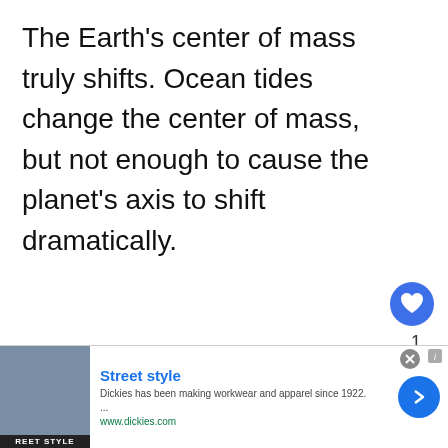The Earth's center of mass truly shifts. Ocean tides change the center of mass, but not enough to cause the planet's axis to shift dramatically.
[Figure (other): Pink/magenta circular play button icon]
Our solar system's planets all spin
[Figure (other): Social UI overlay: heart/like button (blue circle), like count '1', share button]
[Figure (other): What's Next bubble overlay with post_title label]
[Figure (other): Advertisement banner: Street style — Dickies has been making workwear and apparel since 1922. www.dickies.com]